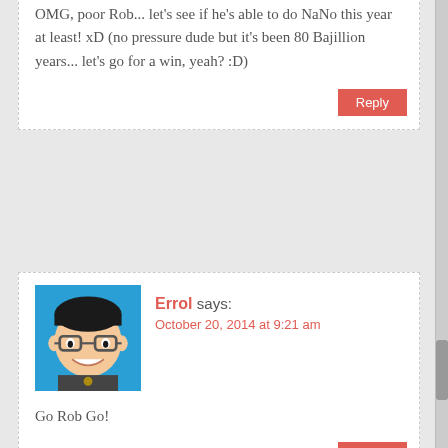OMG, poor Rob... let's see if he's able to do NaNo this year at least! xD (no pressure dude but it's been 80 Bajillion years... let's go for a win, yeah? :D)
Reply
Errol says: October 20, 2014 at 9:21 am
Go Rob Go!
Reply
sharrielynn says: October 20, 2014 at 9:50 am
Yay! I'm so excited to see NaNoToons again!
Reply